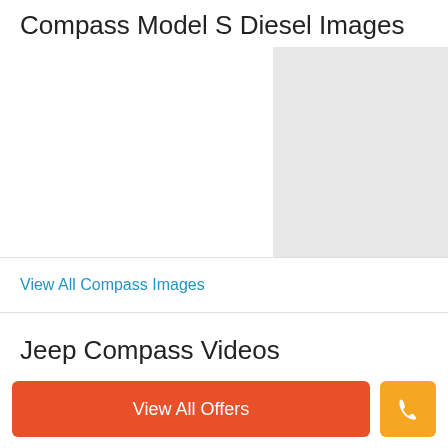Compass Model S Diesel Images
[Figure (photo): Gray placeholder image box on the right side of the image area]
View All Compass Images
Jeep Compass Videos
View All Offers